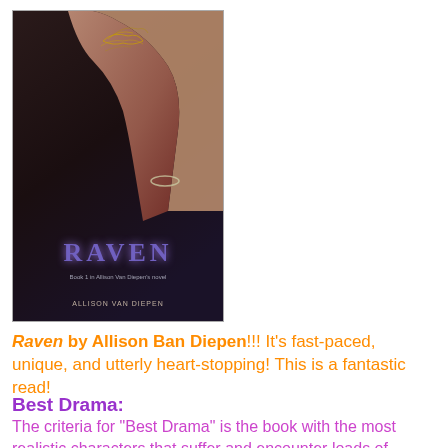[Figure (illustration): Book cover of 'Raven' by Allison Van Diepen, showing a person's bare back with a tattoo, dark background with purple title text]
Raven by Allison Ban Diepen!!! It's fast-paced, unique, and utterly heart-stopping! This is a fantastic read!
Best Drama:
The criteria for "Best Drama" is the book with the most realistic characters that suffer and encounter loads of obstacles and drama. The award for "Best Drama" goes to...
[Figure (illustration): Book cover of a book with teal/storm background showing a couple, with cursive title text]